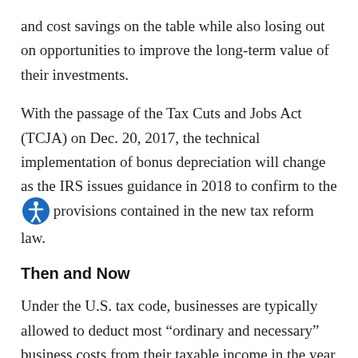and cost savings on the table while also losing out on opportunities to improve the long-term value of their investments.
With the passage of the Tax Cuts and Jobs Act (TCJA) on Dec. 20, 2017, the technical implementation of bonus depreciation will change as the IRS issues guidance in 2018 to confirm the provisions contained in the new tax reform law.
Then and Now
Under the U.S. tax code, businesses are typically allowed to deduct most “ordinary and necessary” business costs from their taxable income in the year they accrue those expenses. In contrast, a